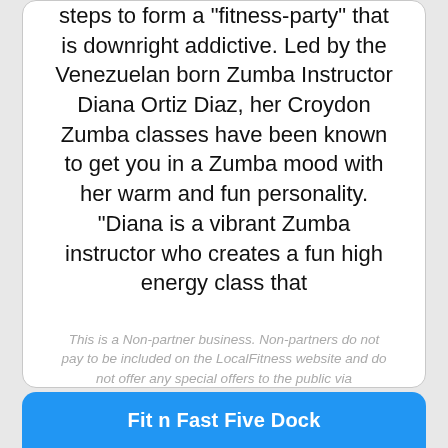steps to form a "fitness-party" that is downright addictive. Led by the Venezuelan born Zumba Instructor Diana Ortiz Diaz, her Croydon Zumba classes have been known to get you in a Zumba mood with her warm and fun personality. "Diana is a vibrant Zumba instructor who creates a fun high energy class that
This is a Non-partner business. Non-partners do not pay to be included on the LocalFitness website and do not offer any special offers to the public via LocalFitness at this time. Information about these businesses may be out of date.
Fit n Fast Five Dock